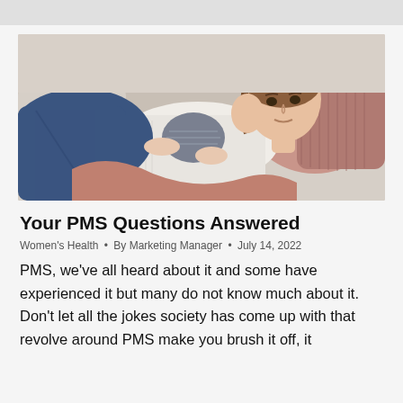[Figure (photo): A woman lying on a couch holding a hot water bottle against her abdomen, looking uncomfortable, with pink pillows and blanket around her, wearing blue jeans and a white top.]
Your PMS Questions Answered
Women's Health • By Marketing Manager • July 14, 2022
PMS, we've all heard about it and some have experienced it but many do not know much about it. Don't let all the jokes society has come up with that revolve around PMS make you brush it off, it